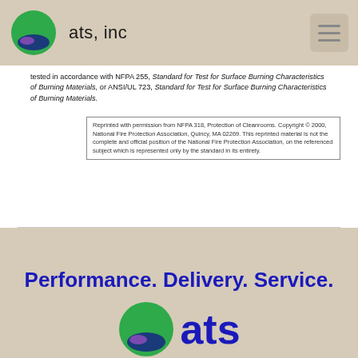ats, inc
tested in accordance with NFPA 255, Standard for Test for Surface Burning Characteristics of Burning Materials, or ANSI/UL 723, Standard for Test for Surface Burning Characteristics of Burning Materials.
Reprinted with permission from NFPA 318, Protection of Cleanrooms. Copyright © 2000, National Fire Protection Association, Quincy, MA 02269. This reprinted material is not the complete and official position of the National Fire Protection Association, on the referenced subject which is represented only by the standard in its entirety.
Performance. Delivery. Service.
[Figure (logo): ATS Inc logo — green and purple circle with 'ats' text in bold blue]